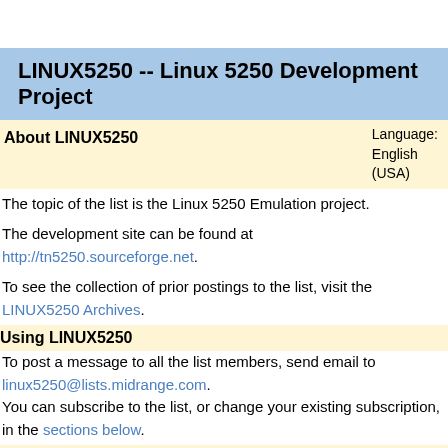LINUX5250 -- Linux 5250 Development Project
About LINUX5250
Language: English (USA)
The topic of the list is the Linux 5250 Emulation project.
The development site can be found at http://tn5250.sourceforge.net.
To see the collection of prior postings to the list, visit the LINUX5250 Archives.
Using LINUX5250
To post a message to all the list members, send email to linux5250@lists.midrange.com.
You can subscribe to the list, or change your existing subscription, in the sections below.
Subscribing to LINUX5250
Subscribe to LINUX5250 by filling out the following form. You will be